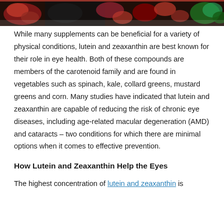[Figure (photo): Top banner image showing colorful vegetables including red peppers, tomatoes, and green vegetables on a dark background]
While many supplements can be beneficial for a variety of physical conditions, lutein and zeaxanthin are best known for their role in eye health. Both of these compounds are members of the carotenoid family and are found in vegetables such as spinach, kale, collard greens, mustard greens and corn. Many studies have indicated that lutein and zeaxanthin are capable of reducing the risk of chronic eye diseases, including age-related macular degeneration (AMD) and cataracts – two conditions for which there are minimal options when it comes to effective prevention.
How Lutein and Zeaxanthin Help the Eyes
The highest concentration of lutein and zeaxanthin is